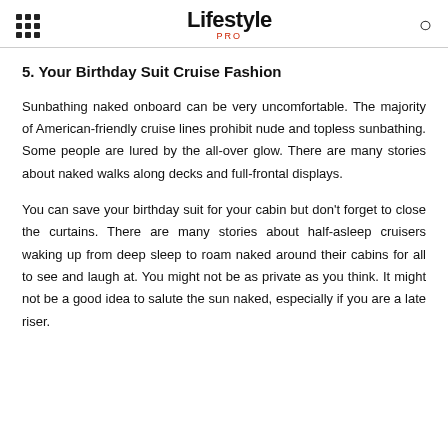Lifestyle PRO
5. Your Birthday Suit Cruise Fashion
Sunbathing naked onboard can be very uncomfortable. The majority of American-friendly cruise lines prohibit nude and topless sunbathing. Some people are lured by the all-over glow. There are many stories about naked walks along decks and full-frontal displays.
You can save your birthday suit for your cabin but don't forget to close the curtains. There are many stories about half-asleep cruisers waking up from deep sleep to roam naked around their cabins for all to see and laugh at. You might not be as private as you think. It might not be a good idea to salute the sun naked, especially if you are a late riser.